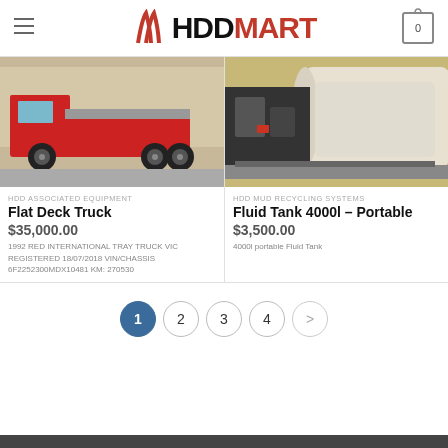HDD MART
[Figure (photo): Flat deck truck - red International tray truck photographed from the side in a yard]
[Figure (photo): Fluid Tank 4000l portable - dark equipment and large white tank on skid]
HDD ASSOCIATED EQUIPMENT
Flat Deck Truck
$35,000.00
1992 RED INTERNATIONAL TRAY TRUCK VIC REGISTERED 18/07/2018 VIN/CHASSIS 6F2252300MDX10481 KM: 270530
HDD MUD RECYCLING SYSTEMS
Fluid Tank 4000l – Portable
$3,500.00
4000l portable Fluid Tank
1 2 3 4 >